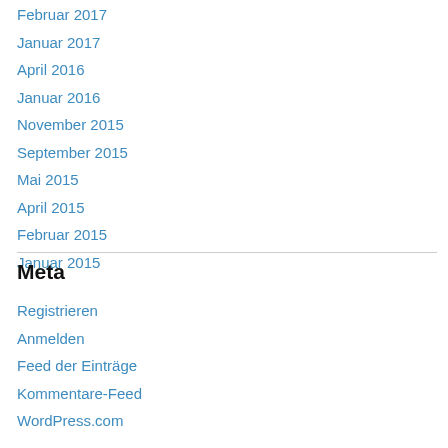Februar 2017
Januar 2017
April 2016
Januar 2016
November 2015
September 2015
Mai 2015
April 2015
Februar 2015
Januar 2015
Meta
Registrieren
Anmelden
Feed der Einträge
Kommentare-Feed
WordPress.com